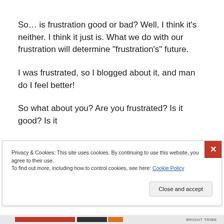So… is frustration good or bad? Well, I think it's neither. I think it just is. What we do with our frustration will determine “frustration’s” future.
I was frustrated, so I blogged about it, and man do I feel better!
So what about you? Are you frustrated? Is it good? Is it bad? You decide and then manage your frustration.
Privacy & Cookies: This site uses cookies. By continuing to use this website, you agree to their use.
To find out more, including how to control cookies, see here: Cookie Policy
Close and accept
BRIGHT TRIBE